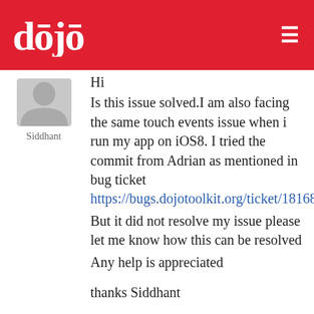dojo
[Figure (illustration): User avatar placeholder icon (grey silhouette)]
Siddhant
Hi
Is this issue solved.I am also facing the same touch events issue when i run my app on iOS8. I tried the commit from Adrian as mentioned in bug ticket https://bugs.dojotoolkit.org/ticket/18168
But it did not resolve my issue please let me know how this can be resolved
Any help is appreciated

thanks Siddhant
↪ Reply